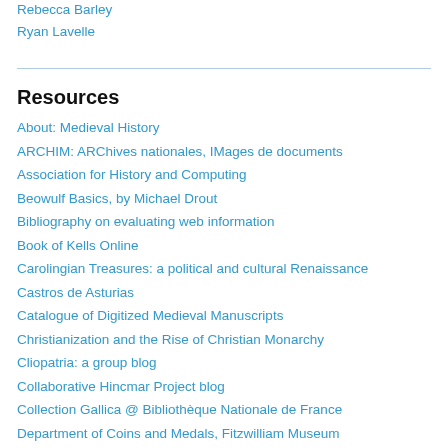Rebecca Barley
Ryan Lavelle
Resources
About: Medieval History
ARCHIM: ARChives nationales, IMages de documents
Association for History and Computing
Beowulf Basics, by Michael Drout
Bibliography on evaluating web information
Book of Kells Online
Carolingian Treasures: a political and cultural Renaissance
Castros de Asturias
Catalogue of Digitized Medieval Manuscripts
Christianization and the Rise of Christian Monarchy
Cliopatria: a group blog
Collaborative Hincmar Project blog
Collection Gallica @ Bibliothèque Nationale de France
Department of Coins and Medals, Fitzwilliam Museum
EMAR – Early Medieval Archaeology Project (Ireland)